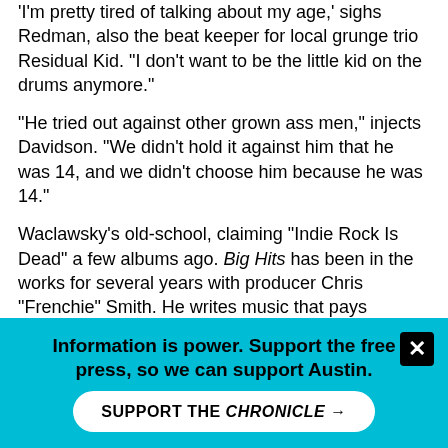'I'm pretty tired of talking about my age,' sighs Redman, also the beat keeper for local grunge trio Residual Kid. 'I don't want to be the little kid on the drums anymore.'
'He tried out against other grown ass men,' injects Davidson. 'We didn't hold it against him that he was 14, and we didn't choose him because he was 14.'
Waclawsky's old-school, claiming "Indie Rock Is Dead" a few albums ago. Big Hits has been in the works for several years with producer Chris "Frenchie" Smith. He writes music that pays attention to archaic rules: guitar solos, what makes sense on side A and side B. We joke about putting a sticker on the new album that simply reads: "Don't listen on shuffle."
"We wanted to do the Bowie Low thing, where one side is all rockers and the other side was all slow stuff," explains Waclawsky. "Instead, we put the two long epics on either end and filled the middle with more rock-y, punk-y stuff."
Is there a conceptual framework? Some grand universe-arching
Information is power. Support the free press, so we can support Austin.
SUPPORT THE CHRONICLE →